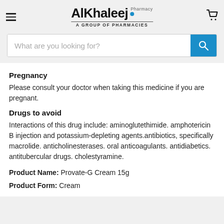Al Khaleej Pharmacy – A Group of Pharmacies
Pregnancy
Please consult your doctor when taking this medicine if you are pregnant.
Drugs to avoid
Interactions of this drug include: aminoglutethimide. amphotericin B injection and potassium-depleting agents.antibiotics, specifically macrolide. anticholinesterases. oral anticoagulants. antidiabetics. antitubercular drugs. cholestyramine.
Product Name: Provate-G Cream 15g
Product Form: Cream